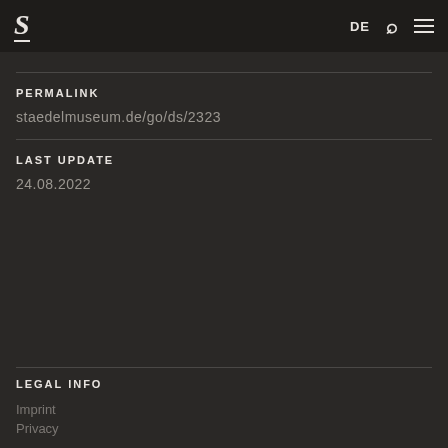S DE
PERMALINK
staedelmuseum.de/go/ds/2323
LAST UPDATE
24.08.2022
LEGAL INFO
Imprint
Privacy